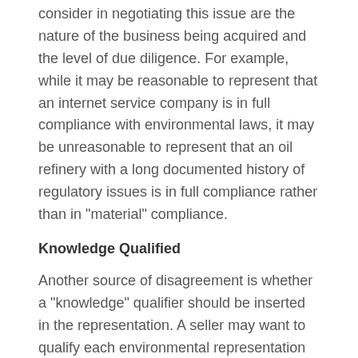consider in negotiating this issue are the nature of the business being acquired and the level of due diligence. For example, while it may be reasonable to represent that an internet service company is in full compliance with environmental laws, it may be unreasonable to represent that an oil refinery with a long documented history of regulatory issues is in full compliance rather than in "material" compliance.
Knowledge Qualified
Another source of disagreement is whether a "knowledge" qualifier should be inserted in the representation. A seller may want to qualify each environmental representation with the phrase "to the best of its knowledge". The buyer may resist this approach, assuming that the seller's knowledge may be faulty or incomplete. As with the above example, the resolution of this issue is the subject of negotiation between the parties, but there are some